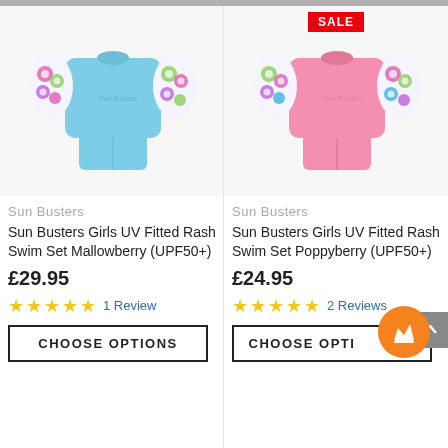[Figure (photo): Blue Sun Busters Girls UV Fitted Rash Swim Set product photo — blue top with floral sleeves and blue shorts]
Sun Busters
Sun Busters Girls UV Fitted Rash Swim Set Mallowberry (UPF50+)
£29.95
★★★★★ 1 Review
CHOOSE OPTIONS
[Figure (photo): Pink Sun Busters Girls UV Fitted Rash Swim Set product photo — pink top with floral sleeves and pink shorts. SALE badge shown.]
Sun Busters
Sun Busters Girls UV Fitted Rash Swim Set Poppyberry (UPF50+)
£24.95
★★★★★ 2 Reviews
CHOOSE OPTIONS